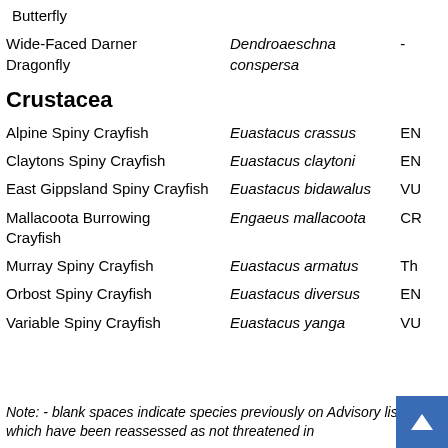Butterfly
Wide-Faced Darner Dragonfly	Dendroaeschna conspersa	-
Crustacea
Alpine Spiny Crayfish	Euastacus crassus	EN
Claytons Spiny Crayfish	Euastacus claytoni	EN
East Gippsland Spiny Crayfish	Euastacus bidawalus	VU
Mallacoota Burrowing Crayfish	Engaeus mallacoota	CR
Murray Spiny Crayfish	Euastacus armatus	Th
Orbost Spiny Crayfish	Euastacus diversus	EN
Variable Spiny Crayfish	Euastacus yanga	VU
Note: - blank spaces indicate species previously on Advisory lists which have been reassessed as not threatened in